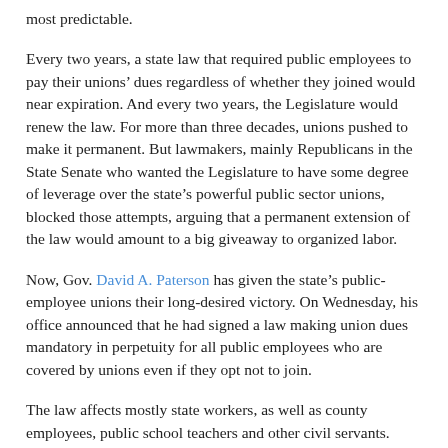most predictable.
Every two years, a state law that required public employees to pay their unions’ dues regardless of whether they joined would near expiration. And every two years, the Legislature would renew the law. For more than three decades, unions pushed to make it permanent. But lawmakers, mainly Republicans in the State Senate who wanted the Legislature to have some degree of leverage over the state’s powerful public sector unions, blocked those attempts, arguing that a permanent extension of the law would amount to a big giveaway to organized labor.
Now, Gov. David A. Paterson has given the state’s public-employee unions their long-desired victory. On Wednesday, his office announced that he had signed a law making union dues mandatory in perpetuity for all public employees who are covered by unions even if they opt not to join.
The law affects mostly state workers, as well as county employees, public school teachers and other civil servants.
The Legislature overwhelmingly approved the bill last month